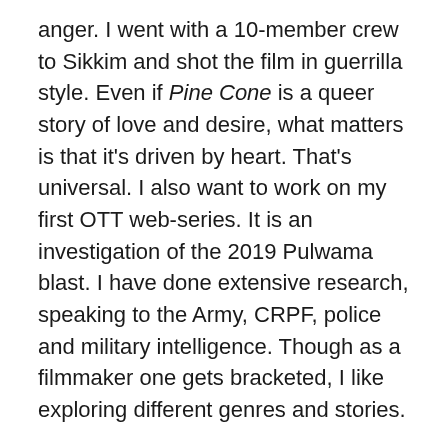anger. I went with a 10-member crew to Sikkim and shot the film in guerrilla style. Even if Pine Cone is a queer story of love and desire, what matters is that it's driven by heart. That's universal. I also want to work on my first OTT web-series. It is an investigation of the 2019 Pulwama blast. I have done extensive research, speaking to the Army, CRPF, police and military intelligence. Though as a filmmaker one gets bracketed, I like exploring different genres and stories.
Do you have many scripts that didn't find any takers?
I have about six queer stories which have been rejected by every platform in the last